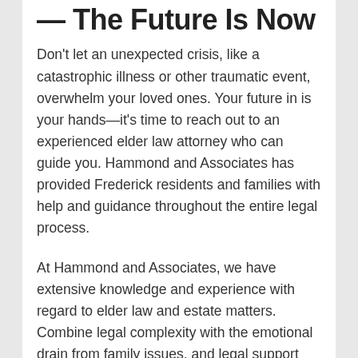— The Future Is Now
Don't let an unexpected crisis, like a catastrophic illness or other traumatic event, overwhelm your loved ones. Your future in is your hands—it's time to reach out to an experienced elder law attorney who can guide you. Hammond and Associates has provided Frederick residents and families with help and guidance throughout the entire legal process.
At Hammond and Associates, we have extensive knowledge and experience with regard to elder law and estate matters. Combine legal complexity with the emotional drain from family issues, and legal support becomes a necessary action. That's where Hammond and Associates can help. We want to make the elder law process flow as smoothly as possible for you and your family. Let